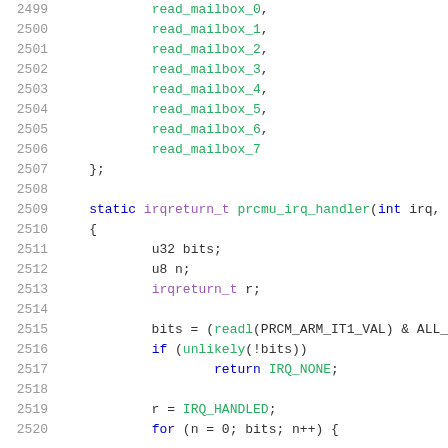Source code listing, lines 2499-2520, showing C code for prcmu_irq_handler function and read_mailbox enum values.